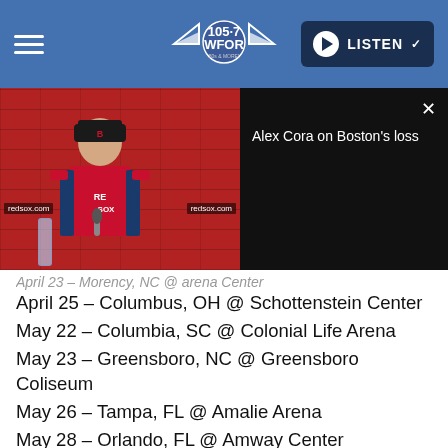105.7 WFOR | LISTEN
[Figure (screenshot): Alex Cora Red Sox press conference video thumbnail with overlay panel showing 'Alex Cora on Boston's loss' and a close button]
April 25 – Columbus, OH @ Schottenstein Center
May 22 – Columbia, SC @ Colonial Life Arena
May 23 – Greensboro, NC @ Greensboro Coliseum
May 26 – Tampa, FL @ Amalie Arena
May 28 – Orlando, FL @ Amway Center
May 30 – Miami, FL @ AmericanAirlines Arena
June 6 – Knoxville, TN @ Thompson-Boling